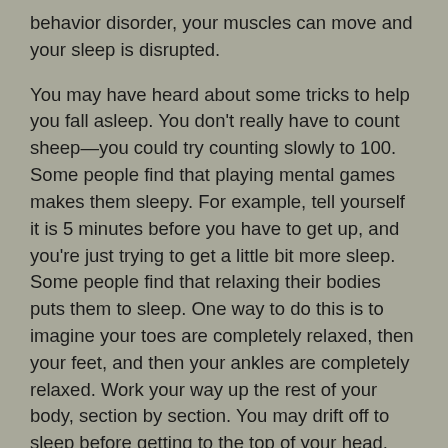behavior disorder, your muscles can move and your sleep is disrupted.
You may have heard about some tricks to help you fall asleep. You don't really have to count sheep—you could try counting slowly to 100. Some people find that playing mental games makes them sleepy. For example, tell yourself it is 5 minutes before you have to get up, and you're just trying to get a little bit more sleep. Some people find that relaxing their bodies puts them to sleep. One way to do this is to imagine your toes are completely relaxed, then your feet, and then your ankles are completely relaxed. Work your way up the rest of your body, section by section. You may drift off to sleep before getting to the top of your head. Use your bedroom only for sleeping. After turning off the light, give yourself about 20 minutes to fall asleep. If you're still awake and not drowsy, get out of bed. When you feel sleepy, go back to bed. If you feel tired and unable to do your activities for